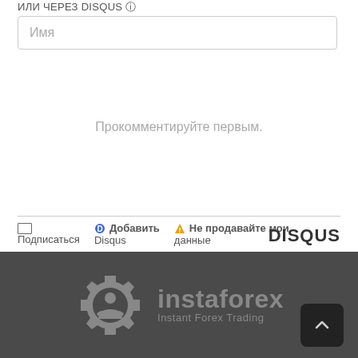ИЛИ ЧЕРЕЗ DISQUS ⓘ
Имя
Прокомментируйте первым.
✉ Подписаться  Ⓓ Добавить Disqus  ⚠ Не продавайте мои данные  DISQUS
[Figure (logo): InstaForex logo with gear icon and text 'instaforex Instant Forex Trading' on dark grey background]